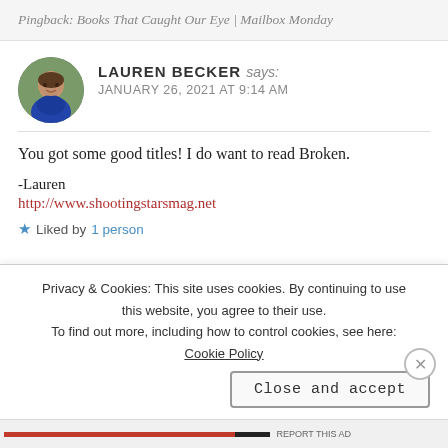Pingback: Books That Caught Our Eye | Mailbox Monday
LAUREN BECKER says: JANUARY 26, 2021 AT 9:14 AM
You got some good titles! I do want to read Broken.

-Lauren
http://www.shootingstarsmag.net
★ Liked by 1 person
Privacy & Cookies: This site uses cookies. By continuing to use this website, you agree to their use. To find out more, including how to control cookies, see here: Cookie Policy
Close and accept